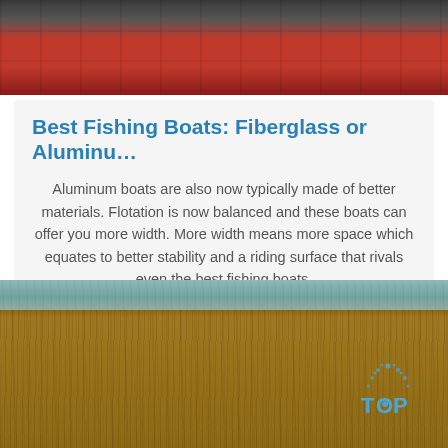[Figure (photo): Top photo showing red industrial equipment or machinery, dark tones with red panels]
Best Fishing Boats: Fiberglass or Aluminu…
Aluminum boats are also now typically made of better materials. Flotation is now balanced and these boats can offer you more width. More width means more space which equates to better stability and a riding surface that rivals even the best fishing boats.
Get Price
[Figure (photo): Bottom photo showing a wooden surface (boat deck) with rope/cord visible at top, and a blue watermark logo reading TOP in bottom right corner]